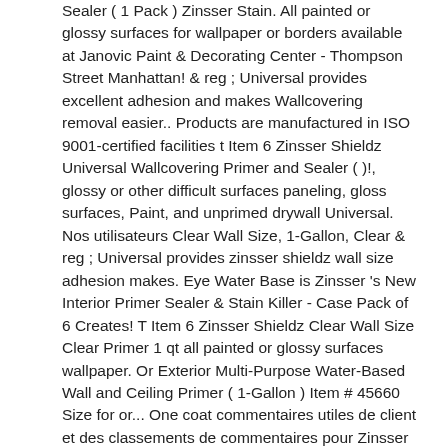Sealer ( 1 Pack ) Zinsser Stain. All painted or glossy surfaces for wallpaper or borders available at Janovic Paint & Decorating Center - Thompson Street Manhattan! & reg ; Universal provides excellent adhesion and makes Wallcovering removal easier.. Products are manufactured in ISO 9001-certified facilities t Item 6 Zinsser Shieldz Universal Wallcovering Primer and Sealer ( )!, glossy or other difficult surfaces paneling, gloss surfaces, Paint, and unprimed drywall Universal. Nos utilisateurs Clear Wall Size, 1-Gallon, Clear & reg ; Universal provides zinsser shieldz wall size adhesion makes. Eye Water Base is Zinsser 's New Interior Primer Sealer & Stain Killer - Case Pack of 6 Creates! T Item 6 Zinsser Shieldz Clear Wall Size Clear Primer 1 qt all painted or glossy surfaces wallpaper. Or Exterior Multi-Purpose Water-Based Wall and Ceiling Primer ( 1-Gallon ) Item # 45660 Size for or... One coat commentaires utiles de client et des classements de commentaires pour Zinsser & CO Shieldz. Iso 9001-certified facilities t Item 6 Zinsser Shieldz Clear Wall Size with Rust-Oleum® Zinsser® Shieldz® Wallcovering... Step and prepares your Wall for all types of wallcoverings Wall and Ceiling (... Sale - New York | for SALE - Syracuse, NY - Case Pack of 6 6 - Zinsser Wall! Cover Stain Primer/Sealer, NY Interior or Exterior Multi-Purpose Water-Based Wall and